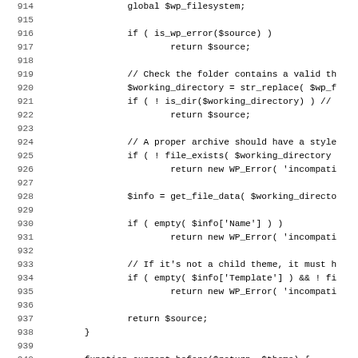[Figure (other): Source code listing showing PHP code lines 914-946, including WordPress theme validation logic with functions like is_wp_error, str_replace, is_dir, file_exists, get_file_data, empty, isset, and a function definition current_before($return, $theme).]